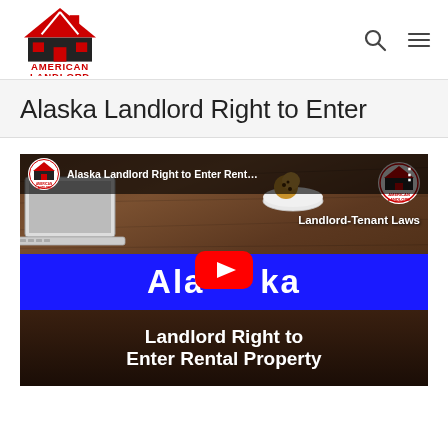American Landlord
Alaska Landlord Right to Enter
[Figure (screenshot): YouTube video thumbnail for 'Alaska Landlord Right to Enter Rent...' showing a wood table background with a laptop, cookies on a plate, the American Landlord logo, text 'Landlord-Tenant Laws' and 'Alaska Landlord Right to Enter Rental Property' with a blue banner and YouTube play button overlay.]